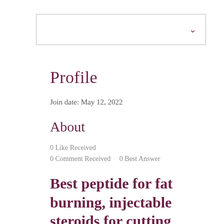[Figure (other): Dropdown/select box UI element with a chevron arrow on the right side]
Profile
Join date: May 12, 2022
About
0 Like Received
0 Comment Received    0 Best Answer
Best peptide for fat burning, injectable steroids for cutting